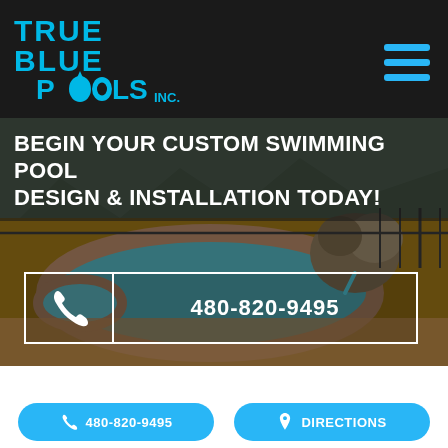[Figure (logo): True Blue Pools Inc. logo in cyan/blue stylized font on dark background]
BEGIN YOUR CUSTOM SWIMMING POOL DESIGN & INSTALLATION TODAY!
[Figure (photo): Outdoor custom swimming pool with rock waterfall feature, desert landscape, surrounded by stone pavers and iron fence]
480-820-9495
480-820-9495
DIRECTIONS